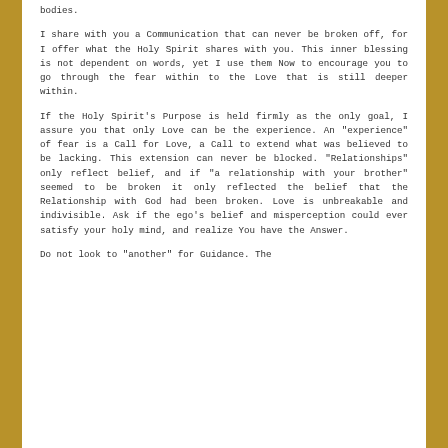bodies.
I share with you a Communication that can never be broken off, for I offer what the Holy Spirit shares with you. This inner blessing is not dependent on words, yet I use them Now to encourage you to go through the fear within to the Love that is still deeper within.
If the Holy Spirit's Purpose is held firmly as the only goal, I assure you that only Love can be the experience. An "experience" of fear is a Call for Love, a Call to extend what was believed to be lacking. This extension can never be blocked. "Relationships" only reflect belief, and if "a relationship with your brother" seemed to be broken it only reflected the belief that the Relationship with God had been broken. Love is unbreakable and indivisible. Ask if the ego's belief and misperception could ever satisfy your holy mind, and realize You have the Answer.
Do not look to "another" for Guidance. The